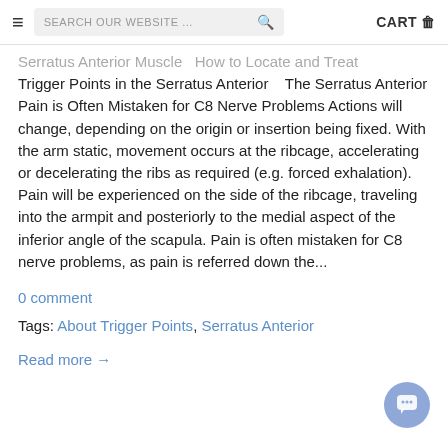SEARCH OUR WEBSITE ... CART
Serratus Anterior Muscle   How to Locate and Treat Trigger Points in the Serratus Anterior   The Serratus Anterior Pain is Often Mistaken for C8 Nerve Problems Actions will change, depending on the origin or insertion being fixed. With the arm static, movement occurs at the ribcage, accelerating or decelerating the ribs as required (e.g. forced exhalation). Pain will be experienced on the side of the ribcage, traveling into the armpit and posteriorly to the medial aspect of the inferior angle of the scapula. Pain is often mistaken for C8 nerve problems, as pain is referred down the...
0 comment
Tags: About Trigger Points, Serratus Anterior
Read more →